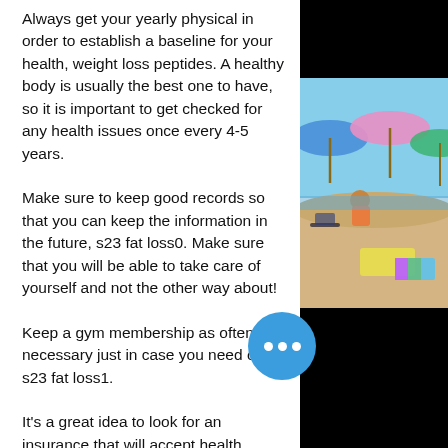Always get your yearly physical in order to establish a baseline for your health, weight loss peptides. A healthy body is usually the best one to have, so it is important to get checked for any health issues once every 4-5 years.
Make sure to keep good records so that you can keep the information in the future, s23 fat loss0. Make sure that you will be able to take care of yourself and not the other way about!
Keep a gym membership as often as necessary just in case you need one, s23 fat loss1.
It's a great idea to look for an insurance that will accept health savings accounts, it could make it even more convenient to
[Figure (photo): Beach scene with people sitting on sand under colorful umbrellas]